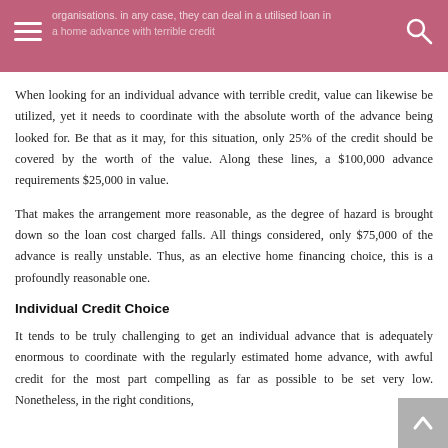a home advance with terrible credit
When looking for an individual advance with terrible credit, value can likewise be utilized, yet it needs to coordinate with the absolute worth of the advance being looked for. Be that as it may, for this situation, only 25% of the credit should be covered by the worth of the value. Along these lines, a $100,000 advance requirements $25,000 in value.
That makes the arrangement more reasonable, as the degree of hazard is brought down so the loan cost charged falls. All things considered, only $75,000 of the advance is really unstable. Thus, as an elective home financing choice, this is a profoundly reasonable one.
Individual Credit Choice
It tends to be truly challenging to get an individual advance that is adequately enormous to coordinate with the regularly estimated home advance, with awful credit for the most part compelling as far as possible to be set very low. Nonetheless, in the right conditions,